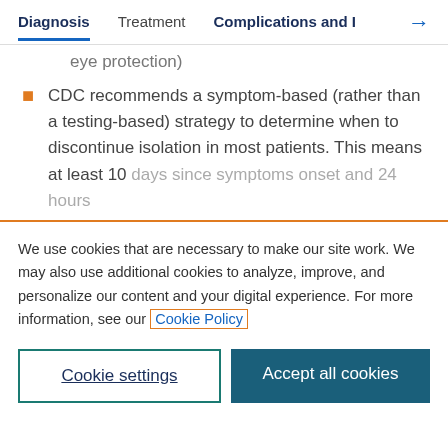Diagnosis | Treatment | Complications and I →
eye protection)
CDC recommends a symptom-based (rather than a testing-based) strategy to determine when to discontinue isolation in most patients. This means at least 10 days since symptoms onset and 24 hours
We use cookies that are necessary to make our site work. We may also use additional cookies to analyze, improve, and personalize our content and your digital experience. For more information, see our Cookie Policy
Cookie settings
Accept all cookies